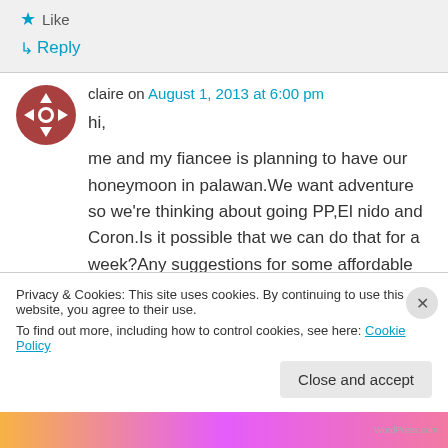★ Like
↳ Reply
claire on August 1, 2013 at 6:00 pm
hi,

me and my fiancee is planning to have our honeymoon in palawan.We want adventure so we're thinking about going PP,El nido and Coron.Is it possible that we can do that for a week?Any suggestions for some affordable
Privacy & Cookies: This site uses cookies. By continuing to use this website, you agree to their use.
To find out more, including how to control cookies, see here: Cookie Policy
Close and accept